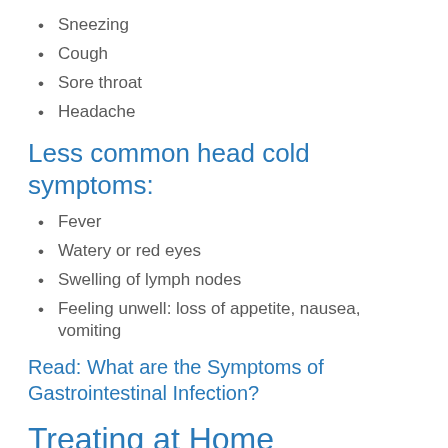Sneezing
Cough
Sore throat
Headache
Less common head cold symptoms:
Fever
Watery or red eyes
Swelling of lymph nodes
Feeling unwell: loss of appetite, nausea, vomiting
Read: What are the Symptoms of Gastrointestinal Infection?
Treating at Home